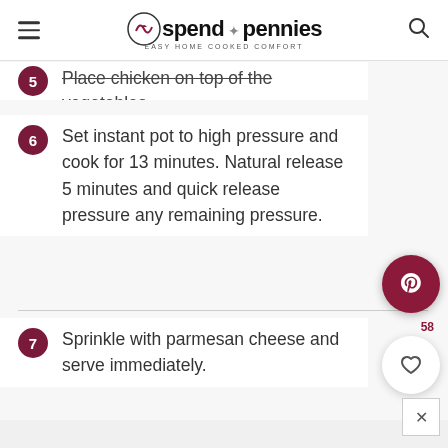spend with pennies — Easy Home Cooked Comfort
5. Place chicken on top of the vegetables.
6. Set instant pot to high pressure and cook for 13 minutes. Natural release 5 minutes and quick release pressure any remaining pressure.
7. Sprinkle with parmesan cheese and serve immediately.